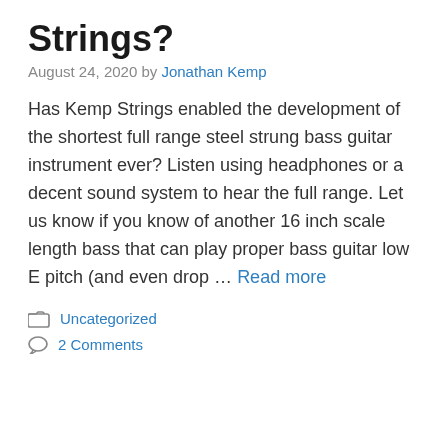Strings?
August 24, 2020 by Jonathan Kemp
Has Kemp Strings enabled the development of the shortest full range steel strung bass guitar instrument ever? Listen using headphones or a decent sound system to hear the full range. Let us know if you know of another 16 inch scale length bass that can play proper bass guitar low E pitch (and even drop … Read more
Uncategorized
2 Comments